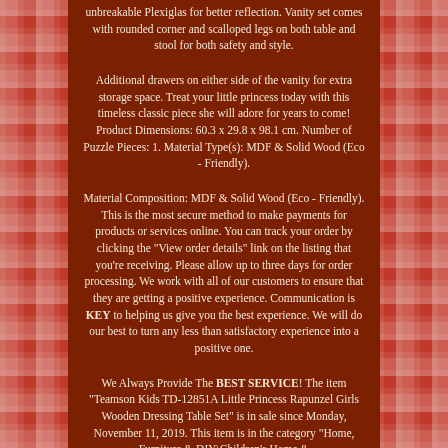unbreakable Plexiglas for better reflection. Vanity set comes with rounded corner and scalloped legs on both table and stool for both safety and style.
Additional drawers on either side of the vanity for extra storage space. Treat your little princess today with this timeless classic piece she will adore for years to come! Product Dimensions: 60.3 x 29.8 x 98.1 cm. Number of Puzzle Pieces: 1. Material Type(s): MDF & Solid Wood (Eco - Friendly).
Material Composition: MDF & Solid Wood (Eco - Friendly). This is the most secure method to make payments for products or services online. You can track your order by clicking the "View order details" link on the listing that you're receiving. Please allow up to three days for order processing. We work with all of our customers to ensure that they are getting a positive experience. Communication is KEY to helping us give you the best experience. We will do our best to turn any less than satisfactory experience into a positive one.
We Always Provide The BEST SERVICE! The item "Teamson Kids TD-12851A Little Princess Rapunzel Girls Wooden Dressing Table Set" is in sale since Monday, November 11, 2019. This item is in the category "Home, Furniture & DIY\Children's Home & Furniture\Furniture\Dressing Tables". The seller is "checkers-deals" and is located in Cheltenham. This item can be shipped to United Kingdom.
Brand: Teamson Kids MPN: TD-12851A Model: TD-12851A UPC: Does not apply EAN: Does not apply